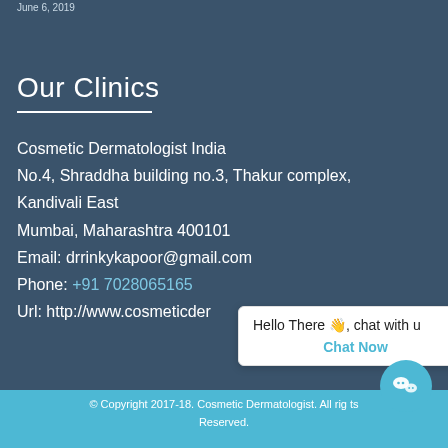June 6, 2019
Our Clinics
Cosmetic Dermatologist India
No.4, Shraddha building no.3, Thakur complex, Kandivali East
Mumbai, Maharashtra 400101
Email: drrinkykapoor@gmail.com
Phone: +91 7028065165
Url: http://www.cosmeticder...
Hello There 👋, chat with u
Chat Now
© Copyright 2017-18. Cosmetic Dermatologist. All rights Reserved.